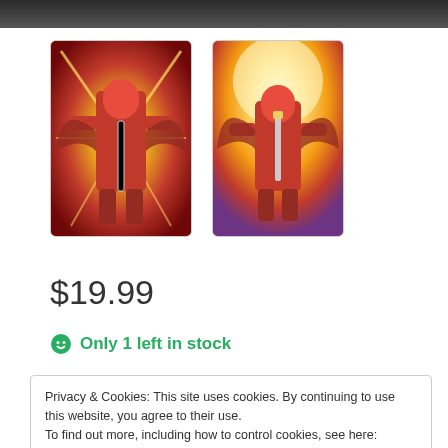[Figure (photo): Top dark banner strip from a webpage]
[Figure (photo): Two trading card thumbnail images showing a red armored warrior figure with yellow/gold energy effects on dark background]
$19.99
Only 1 left in stock
Privacy & Cookies: This site uses cookies. By continuing to use this website, you agree to their use.
To find out more, including how to control cookies, see here: Cookie Policy
Close and accept